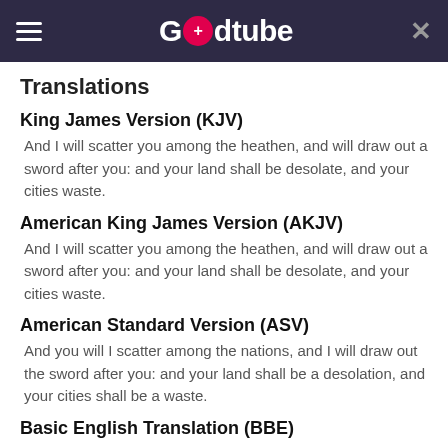Godtube
Translations
King James Version (KJV)
And I will scatter you among the heathen, and will draw out a sword after you: and your land shall be desolate, and your cities waste.
American King James Version (AKJV)
And I will scatter you among the heathen, and will draw out a sword after you: and your land shall be desolate, and your cities waste.
American Standard Version (ASV)
And you will I scatter among the nations, and I will draw out the sword after you: and your land shall be a desolation, and your cities shall be a waste.
Basic English Translation (BBE)
And I will send you out in all directions among the nations, and my sword will be uncovered against you, and your land will be without any living thing,